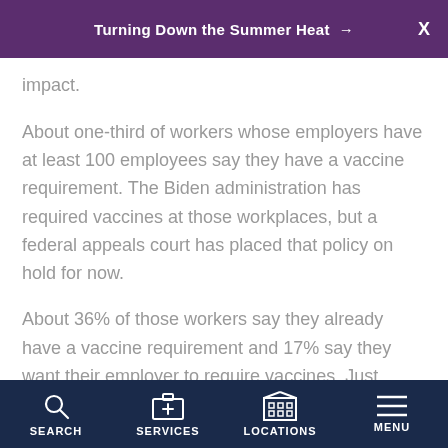Turning Down the Summer Heat →
impact.
About one-third of workers whose employers have at least 100 employees say they have a vaccine requirement. The Biden administration has required vaccines at those workplaces, but a federal appeals court has placed that policy on hold for now.
About 36% of those workers say they already have a vaccine requirement and 17% say they want their employer to require vaccines. Just under 41% have no requirement and don't want one, according to the report.
SEARCH   SERVICES   LOCATIONS   MENU